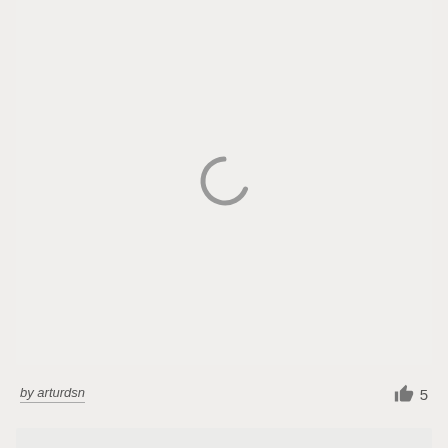[Figure (other): Loading spinner icon — a gray partial circle arc indicating content is loading]
by arturdsn
5